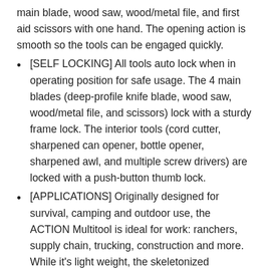main blade, wood saw, wood/metal file, and first aid scissors with one hand. The opening action is smooth so the tools can be engaged quickly.
[SELF LOCKING] All tools auto lock when in operating position for safe usage. The 4 main blades (deep-profile knife blade, wood saw, wood/metal file, and scissors) lock with a sturdy frame lock. The interior tools (cord cutter, sharpened can opener, bottle opener, sharpened awl, and multiple screw drivers) are locked with a push-button thumb lock.
[APPLICATIONS] Originally designed for survival, camping and outdoor use, the ACTION Multitool is ideal for work: ranchers, supply chain, trucking, construction and more. While it's light weight, the skeletonized stainless steel architecture makes it a heavy duty, working man's dream tool.
2   SOG Powerlock V-Cutter- Multi-Tool Pocket Utility Tool Set with 18 Specialty Tools for Absolutely Field Veteran Making Some